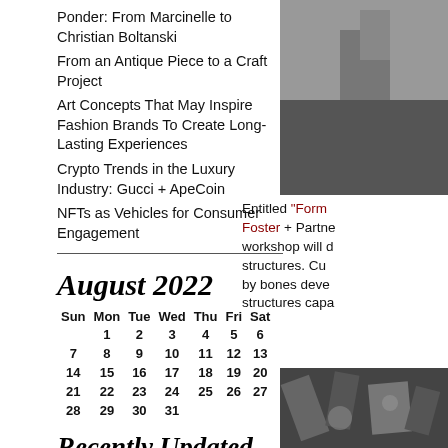Ponder: From Marcinelle to Christian Boltanski
From an Antique Piece to a Craft Project
Art Concepts That May Inspire Fashion Brands To Create Long-Lasting Experiences
Crypto Trends in the Luxury Industry: Gucci + ApeCoin
NFTs as Vehicles for Consumer Engagement
August 2022
| Sun | Mon | Tue | Wed | Thu | Fri | Sat |
| --- | --- | --- | --- | --- | --- | --- |
|  | 1 | 2 | 3 | 4 | 5 | 6 |
| 7 | 8 | 9 | 10 | 11 | 12 | 13 |
| 14 | 15 | 16 | 17 | 18 | 19 | 20 |
| 21 | 22 | 23 | 24 | 25 | 26 | 27 |
| 28 | 29 | 30 | 31 |  |  |  |
Recently Updated Weblogs
□□□□□□,□□□□□,□□□□,□□□□□□,□□□□□□,□□□□,□□□□□,□□□□,□□□□,□□□□□'s blog
□□□□□□□,□□□□□□□,□□□□□□□,□□,□□,□buy,□□□□□□□,□□□□□□□ □□□□□□
[Figure (photo): Dark gray/charcoal image in upper right column]
Entitled "Form Foster + Partners workshop will d structures. Cu by bones deve structures cap
[Figure (photo): Black and white photo of building/city structures in lower right column]